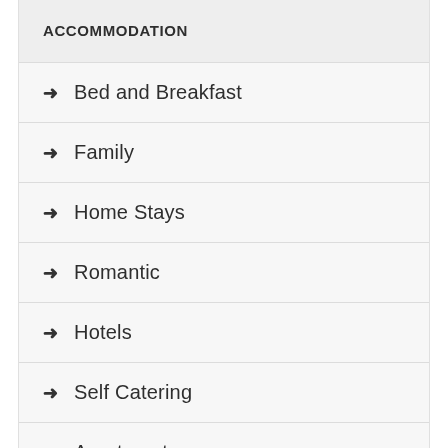ACCOMMODATION
Bed and Breakfast
Family
Home Stays
Romantic
Hotels
Self Catering
Apartments
Tents